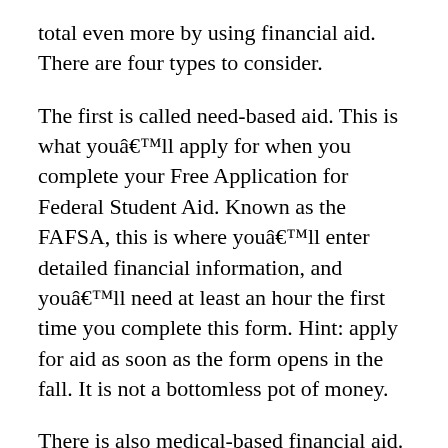total even more by using financial aid. There are four types to consider.
The first is called need-based aid. This is what youâll apply for when you complete your Free Application for Federal Student Aid. Known as the FAFSA, this is where youâll enter detailed financial information, and youâll need at least an hour the first time you complete this form. Hint: apply for aid as soon as the form opens in the fall. It is not a bottomless pot of money.
There is also medical-based financial aid. If you have a condition that could make employment difficult after graduating from college, you may be eligible, and qualifying is separate and apart from financial need and academic considerations.